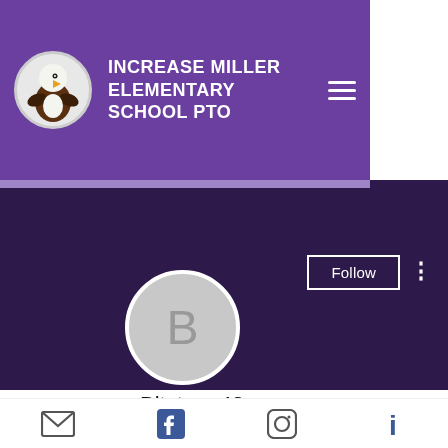[Figure (screenshot): Increase Miller Elementary School PTO website header with purple background, eagle mascot logo, school name in white bold uppercase text, and hamburger menu icon]
Bitstarz 42
0 Followers • 0 Following
Profile
Email, Facebook, Instagram, Info icons